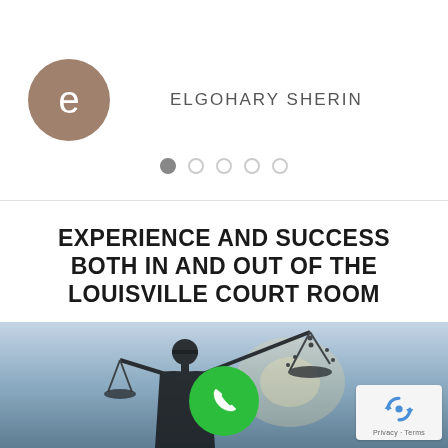[Figure (illustration): Circular avatar with lowercase letter 'e' on brownish-mauve background, representing user profile icon for Elgohary Sherin]
ELGOHARY SHERIN
[Figure (illustration): Pagination dots: one filled dark circle followed by four empty circles]
EXPERIENCE AND SUCCESS BOTH IN AND OUT OF THE LOUISVILLE COURT ROOM
[Figure (illustration): Tan/beige horizontal decorative bar beneath title]
[Figure (photo): Background photo of Lady Justice silhouette holding scales against blue sky, with a green phone call button overlay and reCAPTCHA badge in bottom right corner]